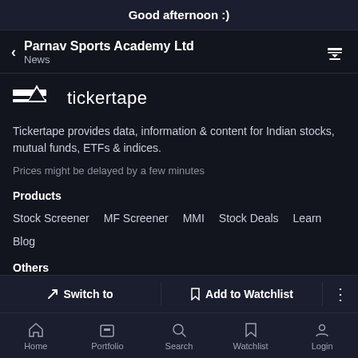Good afternoon :)
Parnav Sports Academy Ltd
News
[Figure (logo): Tickertape logo with horizontal bars and triangle symbol followed by text 'tickertape']
Tickertape provides data, information & content for Indian stocks, mutual funds, ETFs & indices.
Prices might be delayed by a few minutes
Products
Stock Screener
MF Screener
MMI
Stock Deals
Learn
Blog
Others
Pricing
Cancellation Policy
Terms
Privacy
Disclaimers
Switch to | Add to Watchlist | Home Portfolio Search Watchlist Login